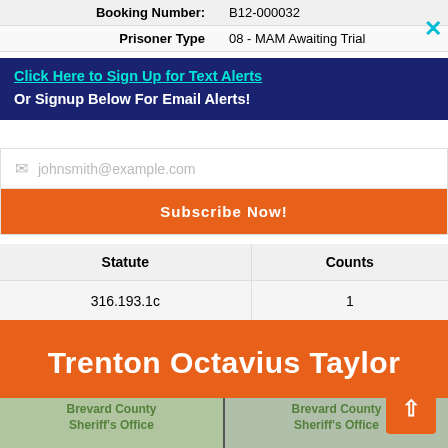|  |  |
| --- | --- |
| Booking Number: | B12-000032 |
| Prisoner Type | 08 - MAM Awaiting Trial |
Click Here to Sign Up for Text Alerts
Or Signup Below For Email Alerts!
johnsmith@example.com (placeholder)
Subscribe Now!
| Statute | Counts |
| --- | --- |
| 316.193.1c | 1 |
Trenton Octavius Taylor
[Figure (photo): Two mugshot photos side by side showing Trenton Octavius Taylor, with Brevard County Sheriff's Office watermark text visible on each photo]
Brevard County Sheriff's Office